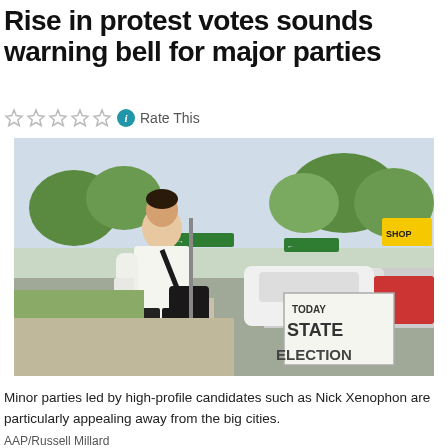Rise in protest votes sounds warning bell for major parties
☆☆☆☆☆ ℹ Rate This
[Figure (photo): A man in a white shirt carrying bags walks along a street near a handwritten sign reading 'TODAY STATE ELECTION'. Trees, cars and shops are visible in the background.]
Minor parties led by high-profile candidates such as Nick Xenophon are particularly appealing away from the big cities.
AAP/Russell Millard